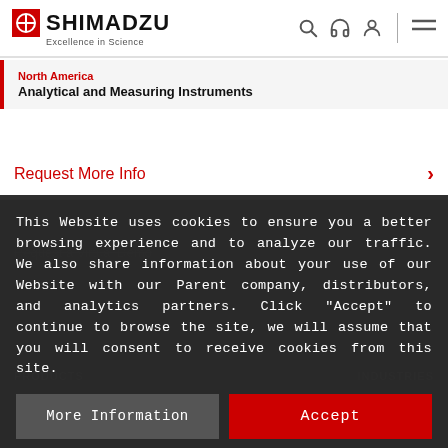[Figure (logo): Shimadzu logo with circular target icon and text 'SHIMADZU Excellence in Science' with navigation icons]
North America
Analytical and Measuring Instruments
Request More Info
This Website uses cookies to ensure you a better browsing experience and to analyze our traffic. We also share information about your use of our Website with our Parent company, distributors, and analytics partners. Click "Accept" to continue to browse the site, we will assume that you will consent to receive cookies from this site.
More Information
Accept